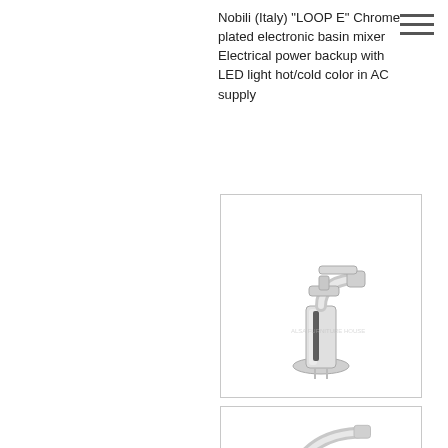Nobili (Italy) "LOOP E" Chrome plated electronic basin mixer Electrical power backup with LED light hot/cold color in AC supply
[Figure (photo): Chrome basin mixer tap (single lever, cylindrical body) photographed on white background inside a bordered box]
RD00118/1 CR
New Road
Nobili (Italy) "New Road" Single lever basin mixer, anti-limestone aerator M24 x 1, waste 1-1/4", Ø3/8" stainless steel flexible hoses
[Figure (photo): Partial view of another chrome basin mixer tap at bottom of page]